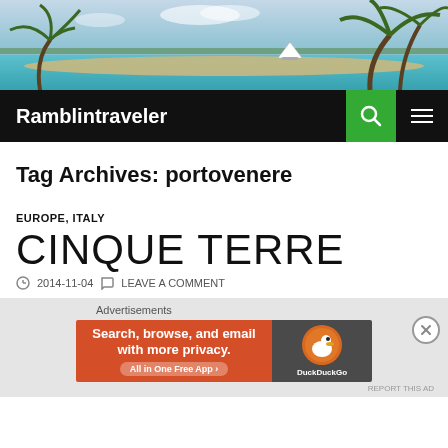[Figure (photo): Tropical beach scene with palm trees, turquoise water, sandy shore, and a sailboat in the distance under a partly cloudy sky.]
Ramblintraveler
Tag Archives: portovenere
EUROPE, ITALY
CINQUE TERRE
2014-11-04   LEAVE A COMMENT
[Figure (screenshot): DuckDuckGo advertisement banner: 'Search, browse, and email with more privacy. All in One Free App' with DuckDuckGo logo on dark background. Labeled 'Advertisements'.]